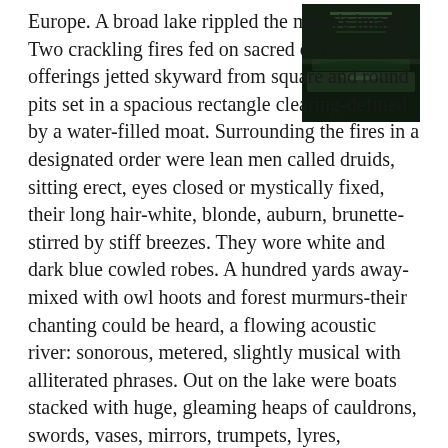[Figure (photo): Book cover image showing a dark landscape with a lake and faint text, moody dark green and black tones]
Europe. A broad lake rippled the moon's image. Two crackling fires fed on sacred oakwood and offerings jetted skyward from square and round pits set in a spacious rectangle clearing-defined by a water-filled moat. Surrounding the fires in a designated order were lean men called druids, sitting erect, eyes closed or mystically fixed, their long hair-white, blonde, auburn, brunette-stirred by stiff breezes. They wore white and dark blue cowled robes. A hundred yards away-mixed with owl hoots and forest murmurs-their chanting could be heard, a flowing acoustic river: sonorous, metered, slightly musical with alliterated phrases. Out on the lake were boats stacked with huge, gleaming heaps of cauldrons, swords, vases, mirrors, trumpets, lyres, furniture, jewelry-all wrought of gold, silver and copper. At the auspicious apogee astronomically calculated by a druid, the treasure was pushed overboard, sinking like metallic fish to the